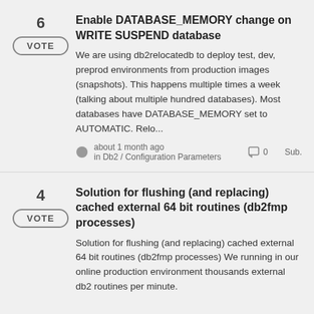6 VOTE — Enable DATABASE_MEMORY change on WRITE SUSPEND database — We are using db2relocatedb to deploy test, dev, preprod environments from production images (snapshots). This happens multiple times a week (talking about multiple hundred databases). Most databases have DATABASE_MEMORY set to AUTOMATIC. Relo... — about 1 month ago in Db2 / Configuration Parameters — 0 comments — Sub.
4 VOTE — Solution for flushing (and replacing) cached external 64 bit routines (db2fmp processes) — Solution for flushing (and replacing) cached external 64 bit routines (db2fmp processes) We running in our online production environment thousands external db2 routines per minute. Because of it we face some performance and t...